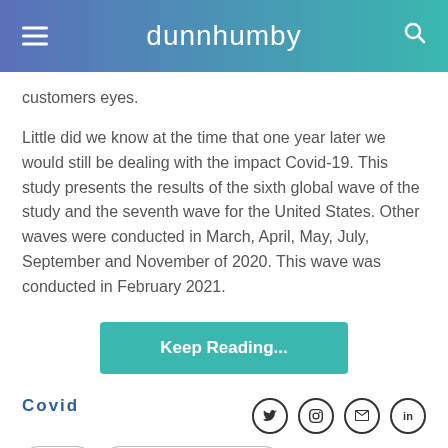dunnhumby
customers eyes.
Little did we know at the time that one year later we would still be dealing with the impact Covid-19. This study presents the results of the sixth global wave of the study and the seventh wave for the United States. Other waves were conducted in March, April, May, July, September and November of 2020. This wave was conducted in February 2021.
Keep Reading...
Covid
report
consumer pulse survey